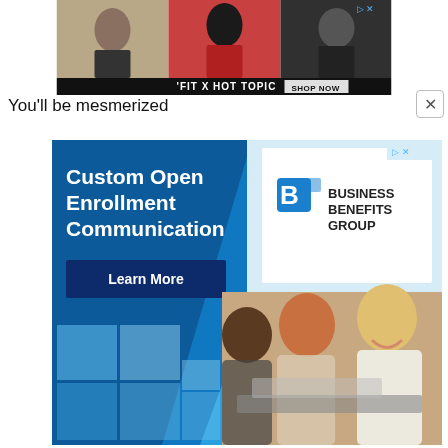[Figure (photo): Advertisement banner: 'FIT X HOT TOPIC' with three celebrities and 'SHOP NOW' button]
You'll be mesmerized
[Figure (infographic): Business Benefits Group advertisement for 'Custom Open Enrollment Communication' with 'Learn More' button and photo of office workers]